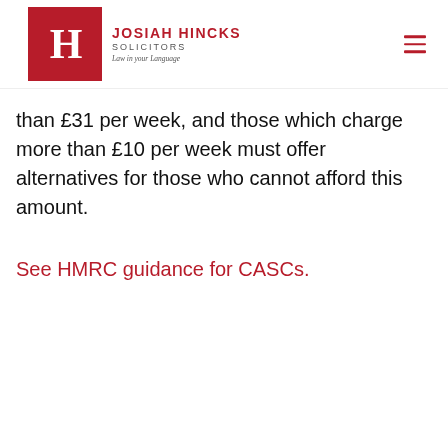JOSIAH HINCKS SOLICITORS — Law in your Language
than £31 per week, and those which charge more than £10 per week must offer alternatives for those who cannot afford this amount.
See HMRC guidance for CASCs.